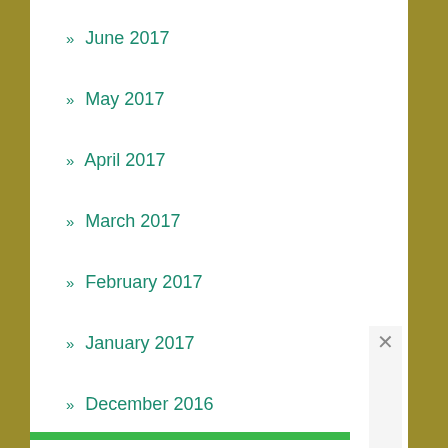» June 2017
» May 2017
» April 2017
» March 2017
» February 2017
» January 2017
» December 2016
» November 2016
» October 2016
» September 2016
» August 2016
Privacy & Cookies: This site uses cookies. By continuing to use this website, you agree to their use. To find out more, including how to control cookies, see here: Cookie Policy
Close and accept